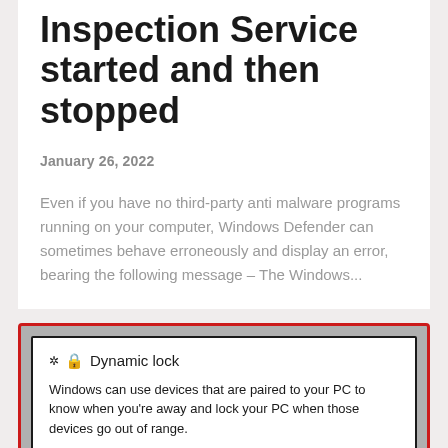Inspection Service started and then stopped
January 26, 2022
Even if you have no third-party anti malware programs running on your computer, Windows Defender can sometimes behave erroneously and display an error, bearing the following message – The Windows...
[Figure (screenshot): Windows Settings screenshot showing Dynamic lock panel with text: 'Windows can use devices that are paired to your PC to know when you're away and lock your PC when those devices go out of range.']